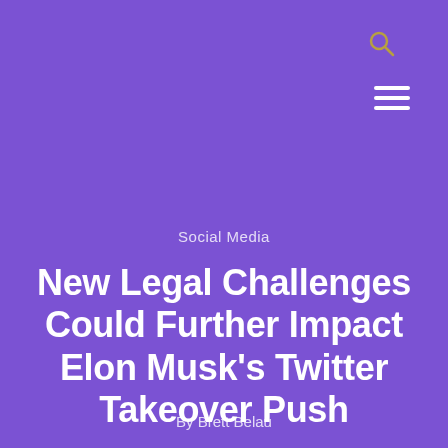[Figure (other): Search icon (magnifying glass) in top right area of purple header]
[Figure (other): Hamburger menu icon (three horizontal lines) in top right corner]
Social Media
New Legal Challenges Could Further Impact Elon Musk's Twitter Takeover Push
By Brett Belau